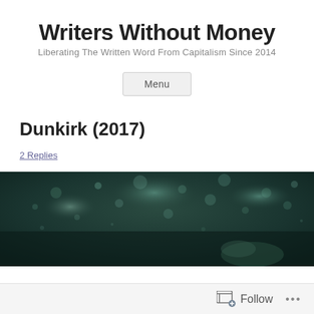Writers Without Money
Liberating The Written Word From Capitalism Since 2014
Menu
Dunkirk (2017)
2 Replies
[Figure (photo): Dark teal/green underwater or dark sky scene, possibly a movie still from Dunkirk (2017)]
Follow ...